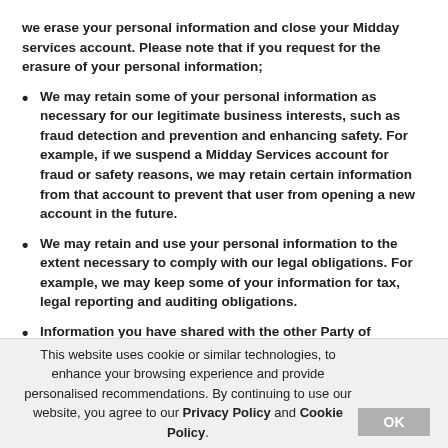we erase your personal information and close your Midday services account. Please note that if you request for the erasure of your personal information;
We may retain some of your personal information as necessary for our legitimate business interests, such as fraud detection and prevention and enhancing safety. For example, if we suspend a Midday Services account for fraud or safety reasons, we may retain certain information from that account to prevent that user from opening a new account in the future.
We may retain and use your personal information to the extent necessary to comply with our legal obligations. For example, we may keep some of your information for tax, legal reporting and auditing obligations.
Information you have shared with the other Party of
This website uses cookie or similar technologies, to enhance your browsing experience and provide personalised recommendations. By continuing to use our website, you agree to our Privacy Policy and Cookie Policy.